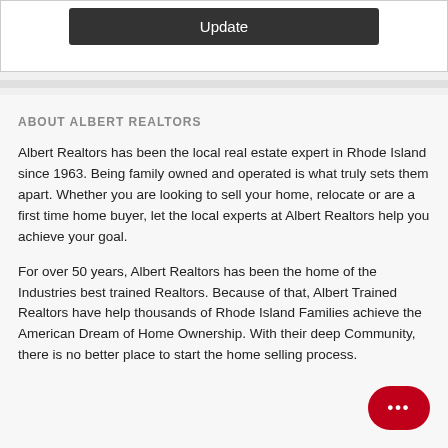[Figure (screenshot): Dark button with white text reading 'Update' inside a white card with border]
ABOUT ALBERT REALTORS
Albert Realtors has been the local real estate expert in Rhode Island since 1963. Being family owned and operated is what truly sets them apart. Whether you are looking to sell your home, relocate or are a first time home buyer, let the local experts at Albert Realtors help you achieve your goal.
For over 50 years, Albert Realtors has been the home of the Industries best trained Realtors. Because of that, Albert Trained Realtors have help thousands of Rhode Island Families achieve the American Dream of Home Ownership. With their deep Community, there is no better place to start the home selling process.